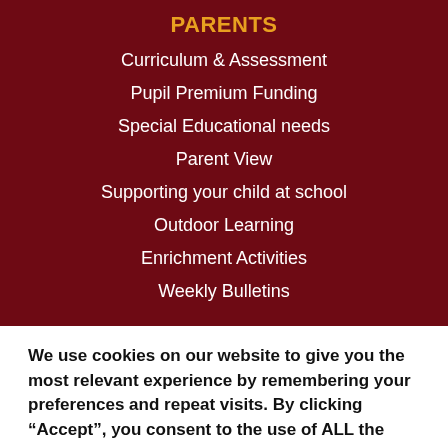PARENTS
Curriculum & Assessment
Pupil Premium Funding
Special Educational needs
Parent View
Supporting your child at school
Outdoor Learning
Enrichment Activities
Weekly Bulletins
We use cookies on our website to give you the most relevant experience by remembering your preferences and repeat visits. By clicking “Accept”, you consent to the use of ALL the cookies.
Settings | Accept All | Reject